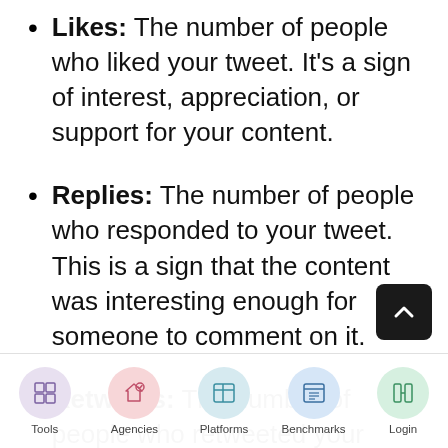Likes: The number of people who liked your tweet. It's a sign of interest, appreciation, or support for your content.
Replies: The number of people who responded to your tweet. This is a sign that the content was interesting enough for someone to comment on it.
Retweets: The number of people who retweeted your content, or shared it on their own profile. This is a sign that...